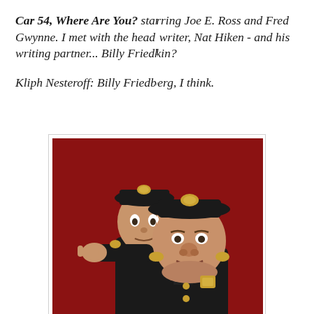Car 54, Where Are You? starring Joe E. Ross and Fred Gwynne. I met with the head writer, Nat Hiken - and his writing partner... Billy Friedkin?
Kliph Nesteroff: Billy Friedberg, I think.
[Figure (photo): Two men dressed as police officers in dark uniforms against a red background. The taller, thin man stands behind pointing, the shorter heavier man stands in front. They are the cast of Car 54, Where Are You?]